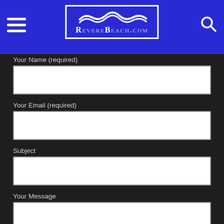RevereBeach.com
Your Name (required)
Your Email (required)
Subject
Your Message